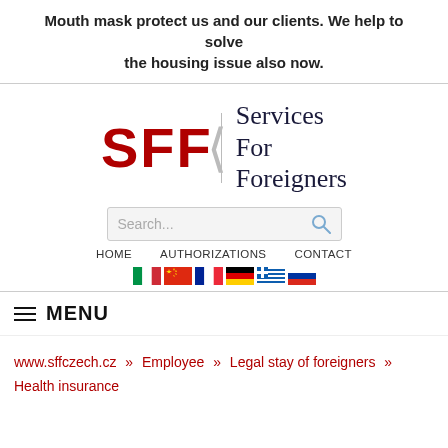Mouth mask protect us and our clients. We help to solve the housing issue also now.
[Figure (logo): SFF Services For Foreigners logo with red SFF letters, angle bracket divider, and serif text]
[Figure (screenshot): Search box with placeholder text 'Search...' and magnifying glass icon]
HOME   AUTHORIZATIONS   CONTACT
[Figure (illustration): Row of country flag icons: Italy, China, France, Germany, Greece, Russia]
≡ MENU
www.sffczech.cz » Employee » Legal stay of foreigners »
Health insurance